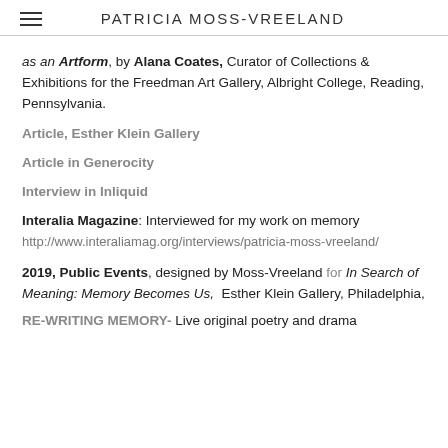PATRICIA MOSS-VREELAND
as an Artform, by Alana Coates, Curator of Collections & Exhibitions for the Freedman Art Gallery, Albright College, Reading, Pennsylvania.
Article, Esther Klein Gallery
Article in Generocity
Interview in Inliquid
Interalia Magazine: Interviewed for my work on memory http://www.interaliamag.org/interviews/patricia-moss-vreeland/
2019, Public Events, designed by Moss-Vreeland for In Search of Meaning: Memory Becomes Us, Esther Klein Gallery, Philadelphia,
RE-WRITING MEMORY- Live original poetry and drama